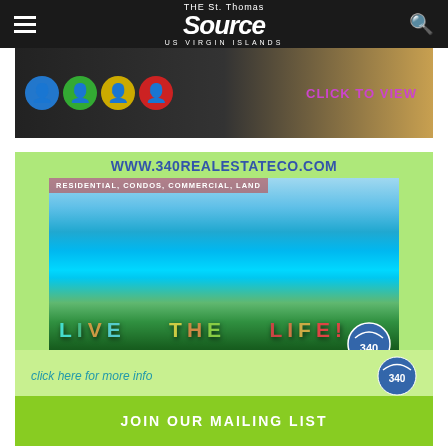The St. Thomas Source - US Virgin Islands
[Figure (illustration): Partial advertisement banner with colorful silhouette circles and 'CLICK TO VIEW' text in magenta]
[Figure (illustration): Real estate advertisement for 340RealEstateCo.com with tropical beach photo, text 'LIVE THE LIFE!' and 'click here for more info', services listed as Residential, Condos, Commercial, Land]
JOIN OUR MAILING LIST